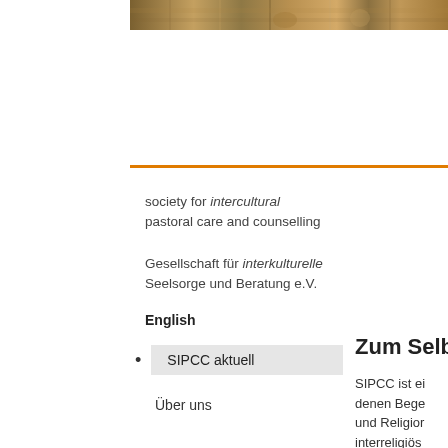[Figure (photo): Partial photo strip at top showing what appears to be an interior/building scene with warm tones]
society for intercultural pastoral care and counselling
Gesellschaft für interkulturelle Seelsorge und Beratung e.V.
English
SIPCC aktuell
Über uns
Zum Selb
SIPCC ist ei denen Bege und Religion interreligiös Selb